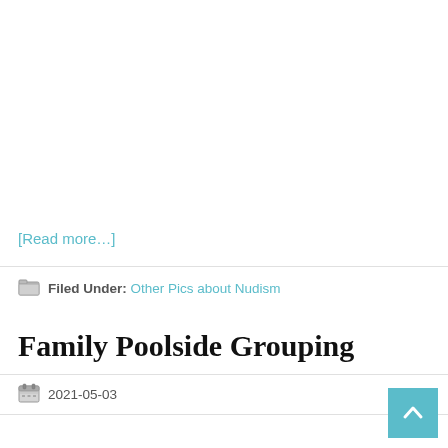[Read more…]
Filed Under: Other Pics about Nudism
Family Poolside Grouping
2021-05-03